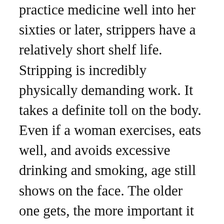practice medicine well into her sixties or later, strippers have a relatively short shelf life. Stripping is incredibly physically demanding work. It takes a definite toll on the body. Even if a woman exercises, eats well, and avoids excessive drinking and smoking, age still shows on the face. The older one gets, the more important it is to have money set aside for plastic surgery, laser treatments, Botox, etc. to keep her looking as good as possible and maximize her earning potential. Even in a best-case scenario, most women have to retire from dancing by the time they hit their mid-forties at the very latest. In all honesty, the Job Stripper who faces retirement isn't really much worse off than your average American who is downsized and faces a forced career change at